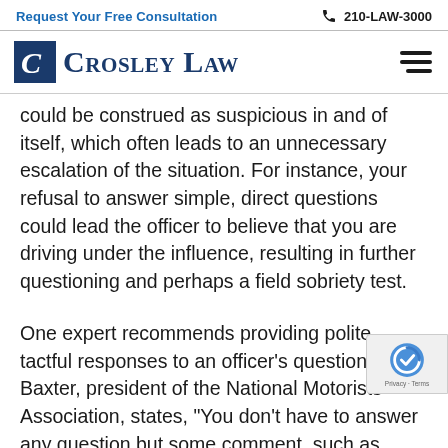Request Your Free Consultation | 210-LAW-3000
[Figure (logo): Crosley Law logo with stylized C icon and firm name in navy blue]
could be construed as suspicious in and of itself, which often leads to an unnecessary escalation of the situation. For instance, your refusal to answer simple, direct questions could lead the officer to believe that you are driving under the influence, resulting in further questioning and perhaps a field sobriety test.
One expert recommends providing polite, tactful responses to an officer’s questions. Jim Baxter, president of the National Motorists Association, states, “You don’t have to answer any question but some comment, such as, ‘Officer I don’t wi discuss the matter’ would be prudent, just to make